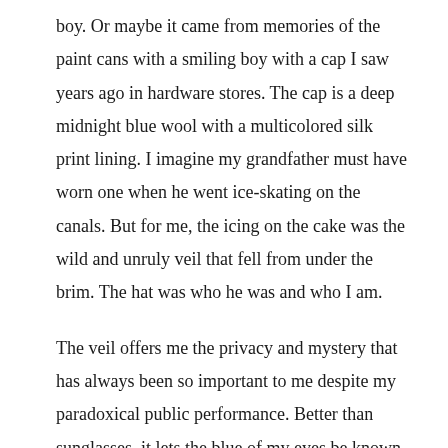boy. Or maybe it came from memories of the paint cans with a smiling boy with a cap I saw years ago in hardware stores. The cap is a deep midnight blue wool with a multicolored silk print lining. I imagine my grandfather must have worn one when he went ice-skating on the canals. But for me, the icing on the cake was the wild and unruly veil that fell from under the brim. The hat was who he was and who I am.
The veil offers me the privacy and mystery that has always been so important to me despite my paradoxical public performance. Better than sunglasses, it lets the blue of my eyes be known